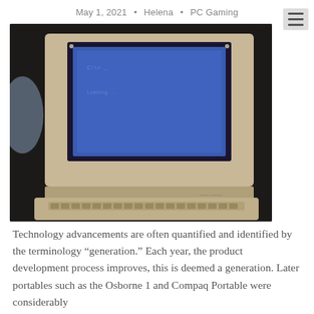May 1, 2021  •  Helena  •  PC Gaming
[Figure (photo): Photograph of an old portable laptop computer (beige/tan colored) open and powered on, displaying a blue screen with faint text, sitting on a dark surface. A menu/hamburger icon (three horizontal lines) is visible in the top-right corner of the image frame.]
Technology advancements are often quantified and identified by the terminology “generation.” Each year, the product development process improves, this is deemed a generation. Later portables such as the Osborne 1 and Compaq Portable were considerably